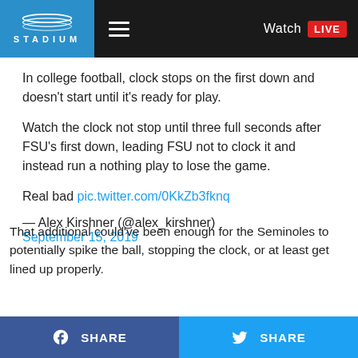[Figure (logo): Stadium logo with blue background, oval stadium icon and STADIUM text in white]
In college football, clock stops on the first down and doesn't start until it's ready for play.
Watch the clock not stop until three full seconds after FSU's first down, leading FSU not to clock it and instead run a nothing play to lose the game.
Real bad pic.twitter.com/0KkZb3fknq
— Alex Kirshner (@alex_kirshner)
September 15, 2019
That additional could've been enough for the Seminoles to potentially spike the ball, stopping the clock, or at least get lined up properly.
SHARE   SHARE